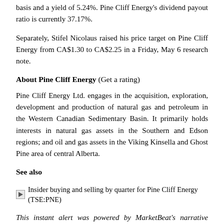basis and a yield of 5.24%. Pine Cliff Energy's dividend payout ratio is currently 37.17%.
Separately, Stifel Nicolaus raised his price target on Pine Cliff Energy from CA$1.30 to CA$2.25 in a Friday, May 6 research note.
About Pine Cliff Energy (Get a rating)
Pine Cliff Energy Ltd. engages in the acquisition, exploration, development and production of natural gas and petroleum in the Western Canadian Sedimentary Basin. It primarily holds interests in natural gas assets in the Southern and Edson regions; and oil and gas assets in the Viking Kinsella and Ghost Pine area of central Alberta.
See also
[Figure (other): Small image icon placeholder next to link text]
Insider buying and selling by quarter for Pine Cliff Energy (TSE:PNE)
This instant alert was powered by MarketBeat's narrative science technology and financial data to provide readers with the fastest and most